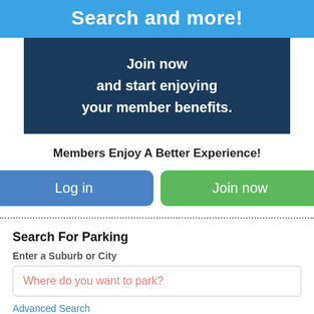Search and more!
Join now
and start enjoying
your member benefits.
Members Enjoy A Better Experience!
Log in
Join now
Search For Parking
Enter a Suburb or City
Where do you want to park?
Advanced Search